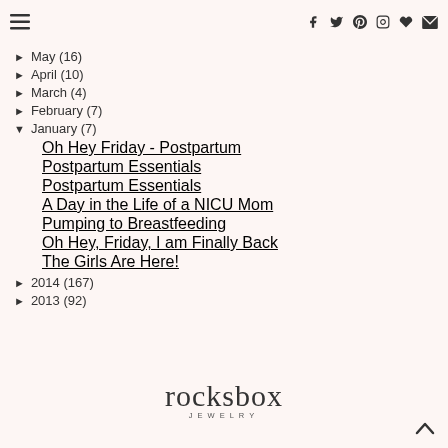Navigation header with hamburger menu and social icons (f, twitter, pinterest, instagram, heart, mail)
► May (16)
► April (10)
► March (4)
► February (7)
▼ January (7)
Oh Hey Friday - Postpartum
Postpartum Essentials
Postpartum Essentials
A Day in the Life of a NICU Mom
Pumping to Breastfeeding
Oh Hey, Friday, I am Finally Back
The Girls Are Here!
► 2014 (167)
► 2013 (92)
[Figure (logo): rocksbox JEWELRY logo in serif font]